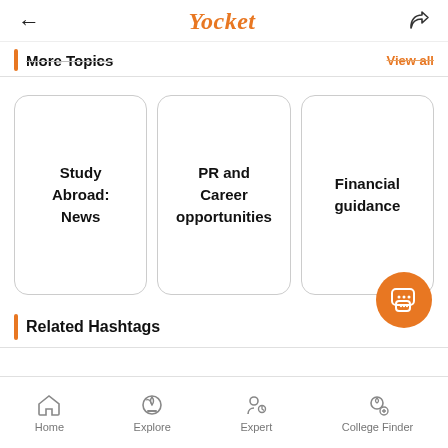Yocket
More topics  View all
Study Abroad: News
PR and Career opportunities
Financial guidance
[Figure (other): Orange circular chat/message floating action button]
Related Hashtags
Home  Explore  Expert  College Finder